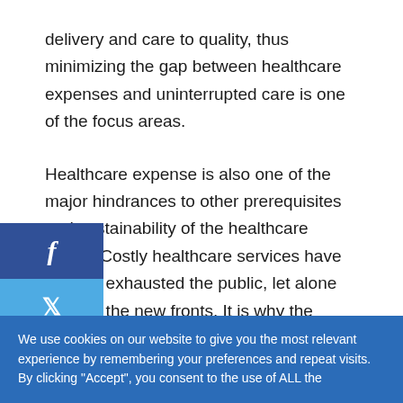delivery and care to quality, thus minimizing the gap between healthcare expenses and uninterrupted care is one of the focus areas.
Healthcare expense is also one of the major hindrances to other prerequisites and sustainability of the healthcare sector. Costly healthcare services have already exhausted the public, let alone fight on the new fronts. It is why the pandemic's impact has amplified expenditure to new heights.
We use cookies on our website to give you the most relevant experience by remembering your preferences and repeat visits. By clicking "Accept", you consent to the use of ALL the